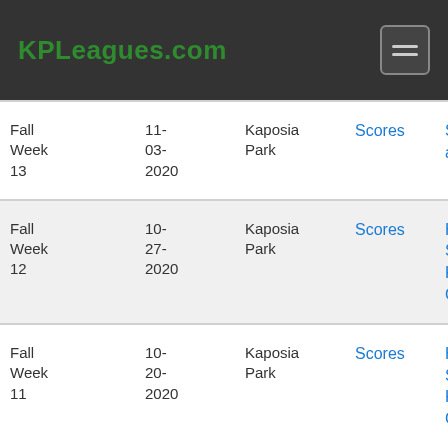KPLeagues.com
| Season/Week | Date | Location | Scores | Teams |
| --- | --- | --- | --- | --- |
| Fall Week 13 | 11-03-2020 | Kaposia Park | Scores | Skip Popla... and New 6... |
| Fall Week 12 | 10-27-2020 | Kaposia Park | Scores | Highway... Sighted Sh... Kap-O-Fiel... Goal |
| Fall Week 11 | 10-20-2020 | Kaposia Park | Scores | Highway... Sighted Sh... Kap-O-Fiel... Goal |
| Fall Week... | 10-13... | Kaposia Park | Scores | Fall-est Do... W/ 8 Shor... |